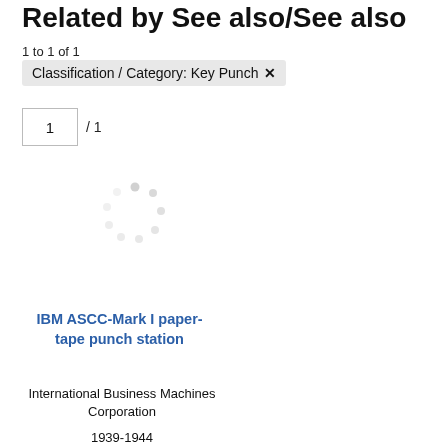Related by See also/See also
1 to 1 of 1
Classification / Category: Key Punch ✕
1 / 1
[Figure (other): Loading spinner graphic — faint grey dots arranged in a circular spinner pattern]
IBM ASCC-Mark I paper-tape punch station
International Business Machines Corporation
1939-1944